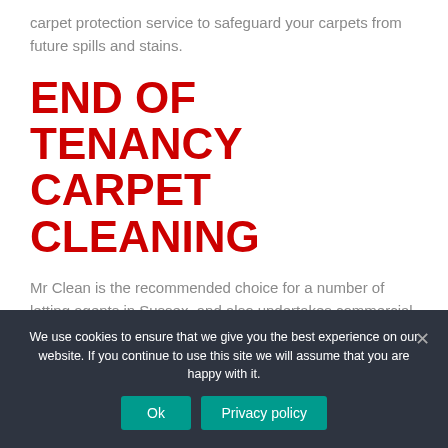carpet protection service to safeguard your carpets from future spills and stains.
END OF TENANCY CARPET CLEANING
Mr Clean is the recommended choice for a number of letting agents in Sussex, and also undertakes commercial carpet cleaning, offices, shop floors, staff and communal areas.  We are also fully equipped to carry out emergency carpet cleaning work caused by flood damage.
We use cookies to ensure that we give you the best experience on our website. If you continue to use this site we will assume that you are happy with it.